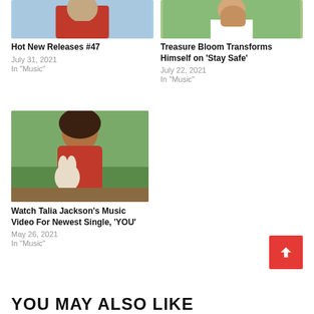[Figure (photo): Person in red jacket, top portion cropped]
Hot New Releases #47
July 31, 2021
In "Music"
[Figure (photo): Person in white shirt covering face with hand outdoors]
Treasure Bloom Transforms Himself on 'Stay Safe'
July 22, 2021
In "Music"
[Figure (photo): Talia Jackson sitting on grass in red outfit holding stuffed bunny]
Watch Talia Jackson's Music Video For Newest Single, 'YOU'
May 26, 2021
In "Music"
YOU MAY ALSO LIKE